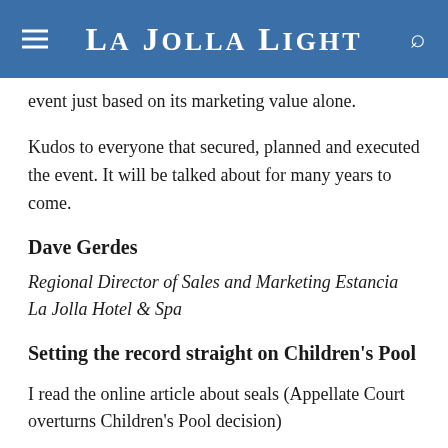La Jolla Light
event just based on its marketing value alone.
Kudos to everyone that secured, planned and executed the event. It will be talked about for many years to come.
Dave Gerdes
Regional Director of Sales and Marketing Estancia La Jolla Hotel & Spa
Setting the record straight on Children's Pool
I read the online article about seals (Appellate Court overturns Children's Pool decision)